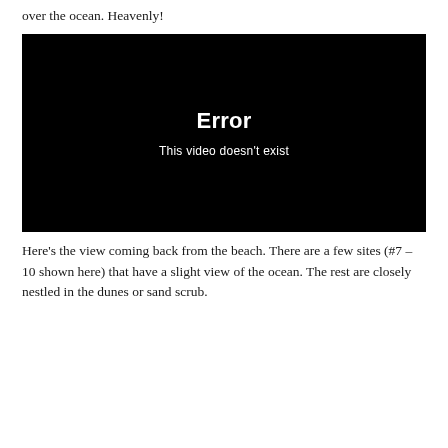over the ocean. Heavenly!
[Figure (screenshot): Black video player showing error message: 'Error' in bold white text and 'This video doesn't exist' below in smaller white text on a black background.]
Here's the view coming back from the beach. There are a few sites (#7 – 10 shown here) that have a slight view of the ocean. The rest are closely nestled in the dunes or sand scrub.